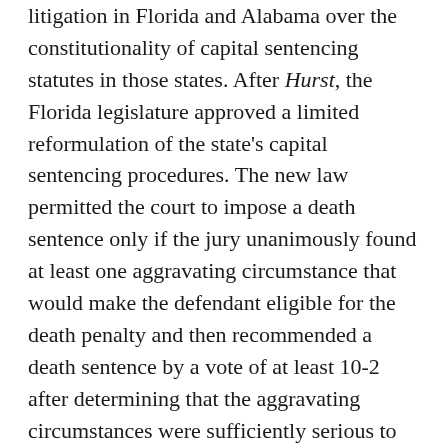litigation in Florida and Alabama over the constitutionality of capital sentencing statutes in those states. After Hurst, the Florida legislature approved a limited reformulation of the state's capital sentencing procedures. The new law permitted the court to impose a death sentence only if the jury unanimously found at least one aggravating circumstance that would make the defendant eligible for the death penalty and then recommended a death sentence by a vote of at least 10-2 after determining that the aggravating circumstances were sufficiently serious to justify a death sentence and outweighed any mitigating circumstances. The Alabama sentencing statute requires a 10-2 vote of the jury before it can recommend a death sentence, but provides full discretion to the trial judge to disregard the jury's findings and override a recommended life sentence.
The Supreme Court has already granted certiorari, summarily reversed decisions of the Alabama appeals